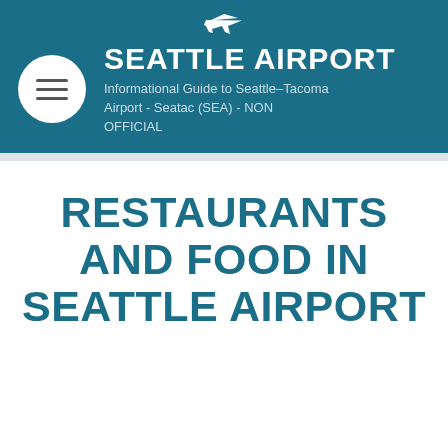SEATTLE AIRPORT — Informational Guide to Seattle–Tacoma Airport - Seatac (SEA) - NON OFFICIAL
RESTAURANTS AND FOOD IN SEATTLE AIRPORT